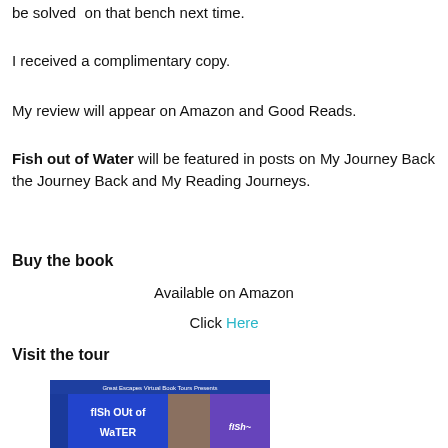be solved on that bench next time.
I received a complimentary copy.
My review will appear on Amazon and Good Reads.
Fish out of Water will be featured in posts on My Journey Back the Journey Back and My Reading Journeys.
Buy the book
Available on Amazon
Click Here
Visit the tour
[Figure (illustration): Great Escapes Virtual Book Tours Presents banner for Fish Out of Water book tour, with stylized title text and author photo]